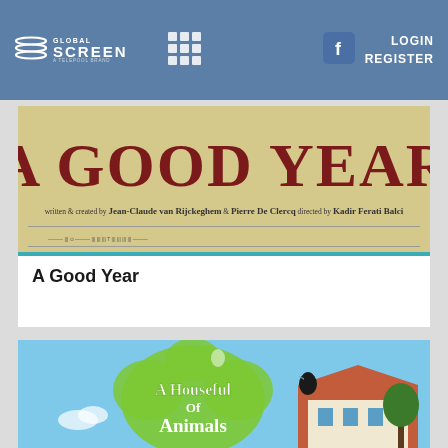[Figure (logo): GlobalScreen logo — white lines/waves icon with GLOBALSCREEN text]
[Figure (other): 3x3 grid/menu icon in white]
[Figure (other): Facebook 'f' icon button]
LOGIN
REGISTER
[Figure (photo): A Good Year movie banner — large dark red text on aged paper background. Written & created by Jean-Claude van Rijckeghem & Pierre De Clercq directed by Kadir Ferati Balci. Various broadcaster/distributor logos below.]
A Good Year
[Figure (photo): A Houseful of Animals show banner — green flower-blob logo with 'A Houseful of Animals' in white text, blue sky background, bird on rooftop of a European-style house, trees visible.]